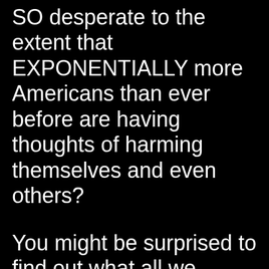SO desperate to the extent that EXPONENTIALLY more Americans than ever before are having thoughts of harming themselves and even others?
You might be surprised to find out what all we actually do here (at Victory City, U.S.A. Est. 1776™).